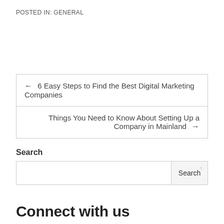POSTED IN: GENERAL
← 6 Easy Steps to Find the Best Digital Marketing Companies
Things You Need to Know About Setting Up a Company in Mainland →
Search
Connect with us